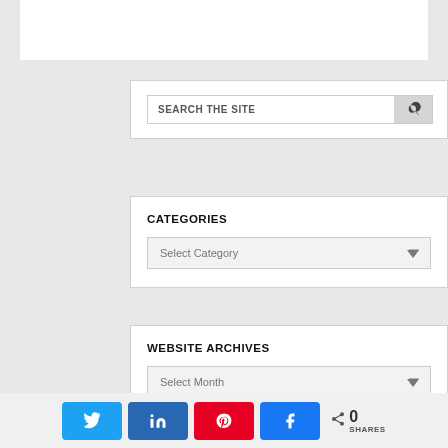[Figure (screenshot): Search widget with text input 'SEARCH THE SITE' and a search button with magnifying glass icon]
CATEGORIES
[Figure (screenshot): Dropdown select box labeled 'Select Category']
WEBSITE ARCHIVES
[Figure (screenshot): Dropdown select box labeled 'Select Month']
[Figure (infographic): Social share bar with Twitter, LinkedIn, Pinterest, Facebook buttons and 0 SHARES counter]